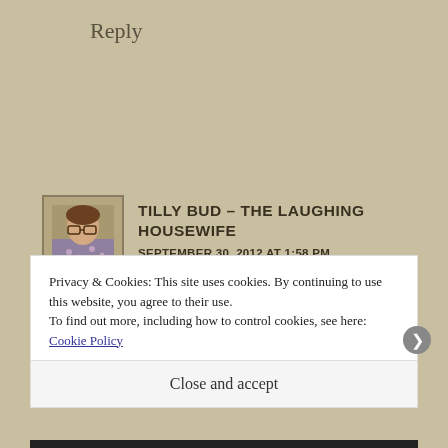Reply
TILLY BUD - THE LAUGHING HOUSEWIFE
SEPTEMBER 30, 2012 AT 1:58 PM
I made rose petal perfume as a child and set up stall outside my house. How sad that we daren't let our
Privacy & Cookies: This site uses cookies. By continuing to use this website, you agree to their use.
To find out more, including how to control cookies, see here: Cookie Policy
Close and accept